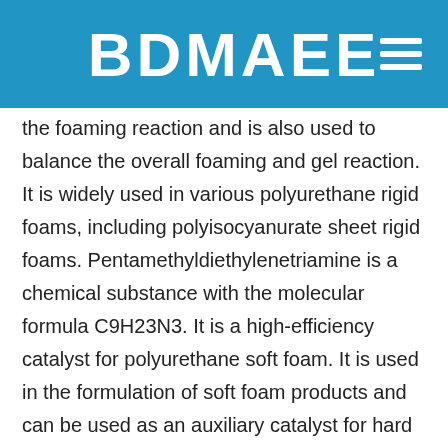BDMAEE
the foaming reaction and is also used to balance the overall foaming and gel reaction. It is widely used in various polyurethane rigid foams, including polyisocyanurate sheet rigid foams. Pentamethyldiethylenetriamine is a chemical substance with the molecular formula C9H23N3. It is a high-efficiency catalyst for polyurethane soft foam. It is used in the formulation of soft foam products and can be used as an auxiliary catalyst for hard foam to improve the fluidity of PU foam in large-capacity refrigerators.
Alias: pentamethyldiethylenetriamine, PC-5 hard foam catalyst, PC5 catalyst, PC5